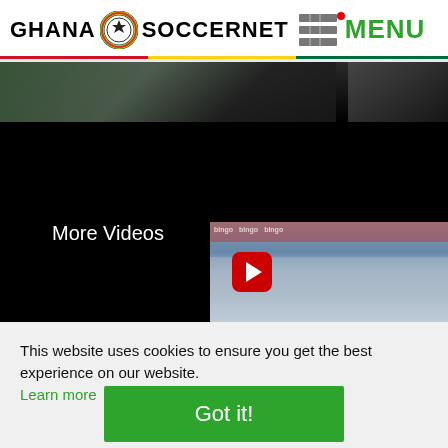GHANA SOCCERNET MENU
[Figure (screenshot): Dark video player area with a partially visible sports/soccer image at the top and a video thumbnail showing soccer players celebrating, with a red YouTube play button overlay. Text 'More Videos' appears on the left in white.]
This website uses cookies to ensure you get the best experience on our website. Learn more
[Figure (other): Green 'Got it!' button for cookie consent]